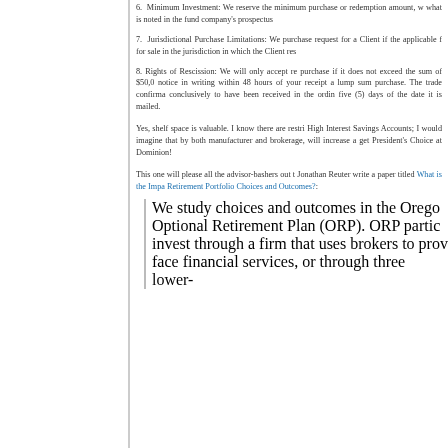6. Minimum Investment: We reserve the minimum purchase or redemption amount, w what is noted in the fund company's prospectus
7. Jurisdictional Purchase Limitations: We purchase request for a Client if the applicable f for sale in the jurisdiction in which the Client res
8. Rights of Rescission: We will only accept re purchase if it does not exceed the sum of $50,0 notice in writing within 48 hours of your receipt a lump sum purchase. The trade confirma conclusively to have been received in the ordin five (5) days of the date it is mailed.
Yes, shelf space is valuable. I know there are restrictions on High Interest Savings Accounts; I would imagine that additional scrutiny by both manufacturer and brokerage, will increase and you can't get President's Choice at Dominion!
This one will please all the advisor-bashers out there. Jonathan Reuter write a paper titled What is the Impact of Financial Advisors on Retirement Portfolio Choices and Outcomes?:
We study choices and outcomes in the Oregon Optional Retirement Plan (ORP). ORP participants invest through a firm that uses brokers to provide face financial services, or through three lower- ...